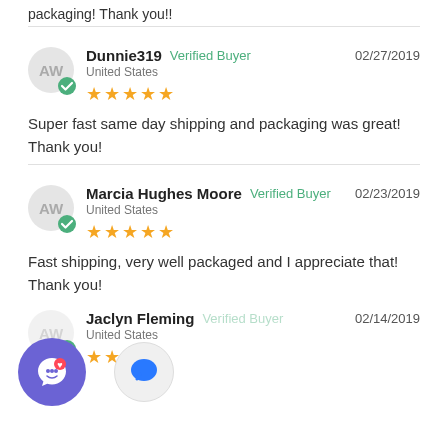packaging! Thank you!!
Dunnie319   Verified Buyer   02/27/2019
United States
★★★★★
Super fast same day shipping and packaging was great! Thank you!
Marcia Hughes Moore   Verified Buyer   02/23/2019
United States
★★★★★
Fast shipping, very well packaged and I appreciate that! Thank you!
Jaclyn Fleming   Verified Buyer   02/14/2019
United States